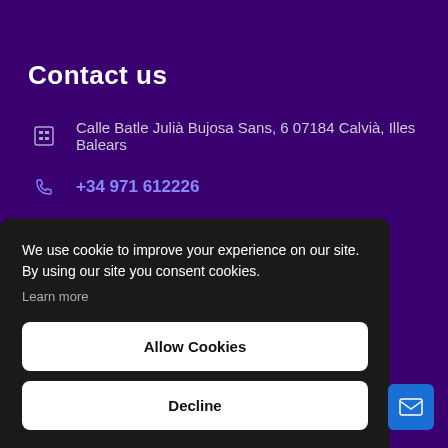Contact us
Calle Batle Julià Bujosa Sans, 6 07184 Calvià, Illes Balears
+34 971 612226
hola@mallorca.agency
Mallorca Agency
We use cookie to improve your experience on our site. By using our site you consent cookies. Learn more
Allow Cookies
Decline